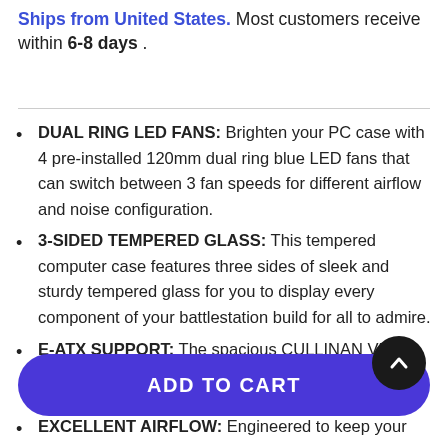Ships from United States. Most customers receive within 6-8 days .
DUAL RING LED FANS: Brighten your PC case with 4 pre-installed 120mm dual ring blue LED fans that can switch between 3 fan speeds for different airflow and noise configuration.
3-SIDED TEMPERED GLASS: This tempered computer case features three sides of sleek and sturdy tempered glass for you to display every component of your battlestation build for all to admire.
E-ATX SUPPORT: The spacious CULLINAN V500 supports Extended ATX (E-ATX) motherboards with
ADD TO CART
EXCELLENT AIRFLOW: Engineered to keep your